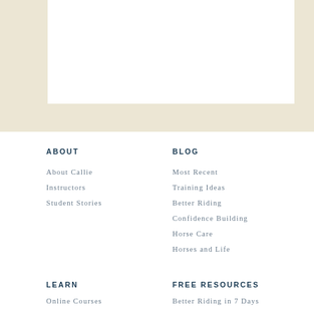[Figure (other): Decorative beige background section with a white card/panel at top]
ABOUT
About Callie
Instructors
Student Stories
BLOG
Most Recent
Training Ideas
Better Riding
Confidence Building
Horse Care
Horses and Life
LEARN
Online Courses
FREE RESOURCES
Better Riding in 7 Days